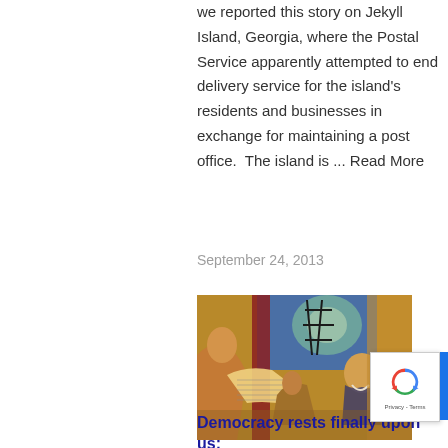we reported this story on Jekyll Island, Georgia, where the Postal Service apparently attempted to end delivery service for the island's residents and businesses in exchange for maintaining a post office.  The island is ... Read More
September 24, 2013
[Figure (photo): A painting or mural depicting historical figures examining a large document or scroll. The scene has warm golden and red tones with a blue background showing a wheel-like structure. Several people are gathered around what appears to be a reading or signing of an important document.]
Democracy rests finally upon us: